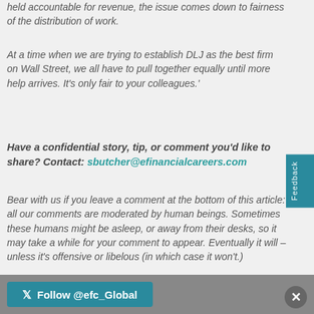held accountable for revenue, the issue comes down to fairness of the distribution of work.
At a time when we are trying to establish DLJ as the best firm on Wall Street, we all have to pull together equally until more help arrives. It’s only fair to your colleagues.’
Have a confidential story, tip, or comment you’d like to share? Contact: sbutcher@efinancialcareers.com
Bear with us if you leave a comment at the bottom of this article: all our comments are moderated by human beings. Sometimes these humans might be asleep, or away from their desks, so it may take a while for your comment to appear. Eventually it will – unless it’s offensive or libelous (in which case it won’t.)
Photo by Joyce Romero on Unsplash